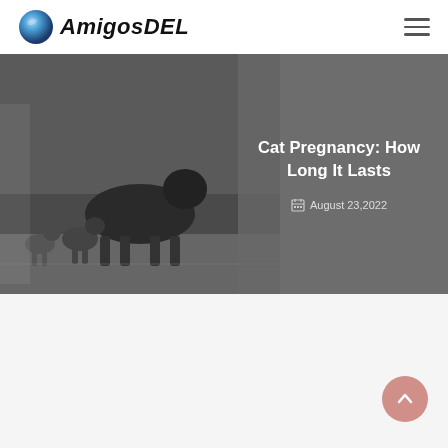AmigosDEL
[Figure (photo): Black and white photo of a cat with kittens walking on a surface, partially visible on the left side. A gray overlay panel on the right contains the article title and date.]
Cat Pregnancy: How Long It Lasts
August 23,2022